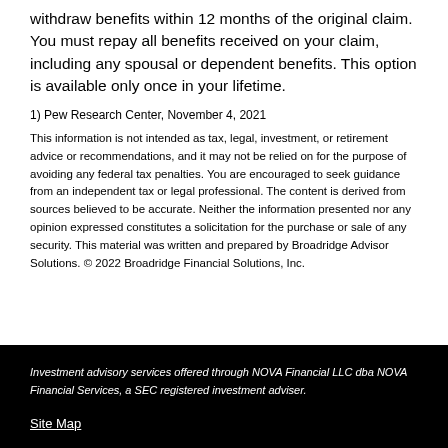withdraw benefits within 12 months of the original claim. You must repay all benefits received on your claim, including any spousal or dependent benefits. This option is available only once in your lifetime.
1) Pew Research Center, November 4, 2021
This information is not intended as tax, legal, investment, or retirement advice or recommendations, and it may not be relied on for the purpose of avoiding any federal tax penalties. You are encouraged to seek guidance from an independent tax or legal professional. The content is derived from sources believed to be accurate. Neither the information presented nor any opinion expressed constitutes a solicitation for the purchase or sale of any security. This material was written and prepared by Broadridge Advisor Solutions. © 2022 Broadridge Financial Solutions, Inc.
Investment advisory services offered through NOVA Financial LLC dba NOVA Financial Services, a SEC registered investment adviser.
Site Map